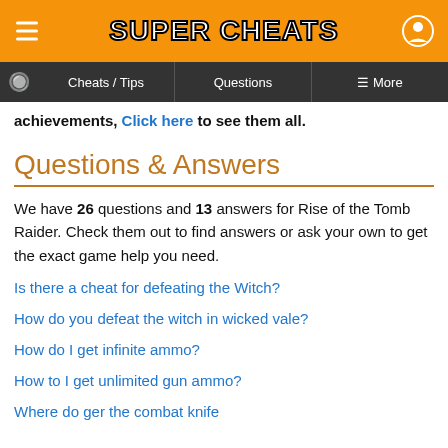SUPER CHEATS
Cheats / Tips | Questions | More
achievements, Click here to see them all.
Questions & Answers
We have 26 questions and 13 answers for Rise of the Tomb Raider. Check them out to find answers or ask your own to get the exact game help you need.
Is there a cheat for defeating the Witch?
How do you defeat the witch in wicked vale?
How do I get infinite ammo?
How to I get unlimited gun ammo?
Where do ger the combat knife